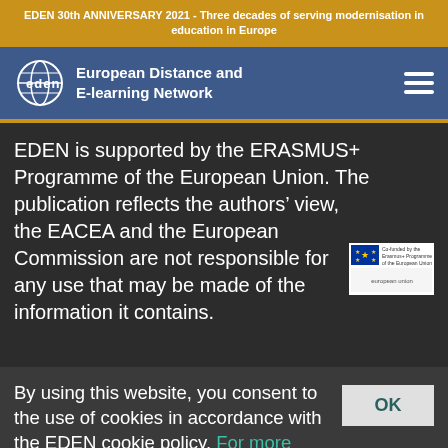EDEN 30th ANNIVERSARY 2021 - Three decades of serving modernisation in education in Europe
[Figure (logo): EDEN logo with globe icon and text European Distance and E-learning Network on blue navigation bar with hamburger menu icon]
EDEN is supported by the ERASMUS+ Programme of the European Union. The publication reflects the authors’ view, the EACEA and the European Commission are not responsible for any use that may be made of the information it contains.
[Figure (logo): Co-funded by the Erasmus+ Programme of the European Union badge]
By using this website, you consent to the use of cookies in accordance with the EDEN cookie policy. For more information see our cookie policy page.